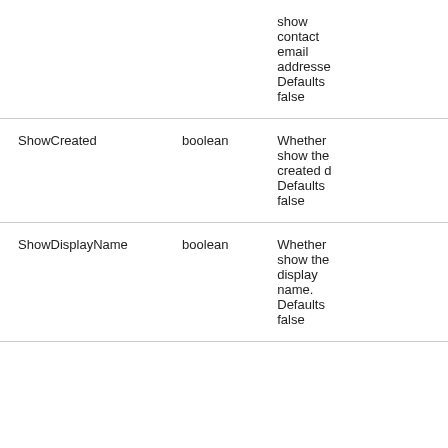| Name | Type | Description |
| --- | --- | --- |
|  |  | show contact email addresse Defaults false |
| ShowCreated | boolean | Whether show the created d Defaults false |
| ShowDisplayName | boolean | Whether show the display name. Defaults false |